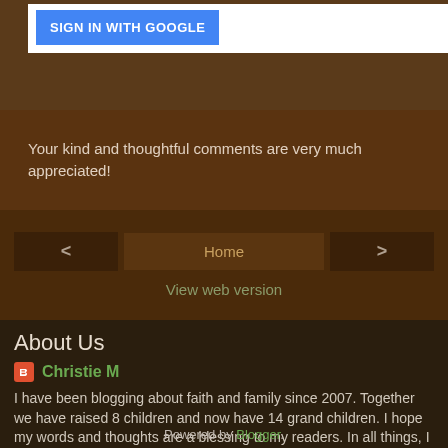[Figure (screenshot): Sign in with Google button on white background]
Your kind and thoughtful comments are very much appreciated!
< Home >
View web version
About Us
Christie M
I have been blogging about faith and family since 2007. Together we have raised 8 children and now have 14 grand children. I hope my words and thoughts are a blessing to my readers. In all things, I pray that the Lord Jesus Christ is glorified.
View my complete profile
Powered by Blogger.